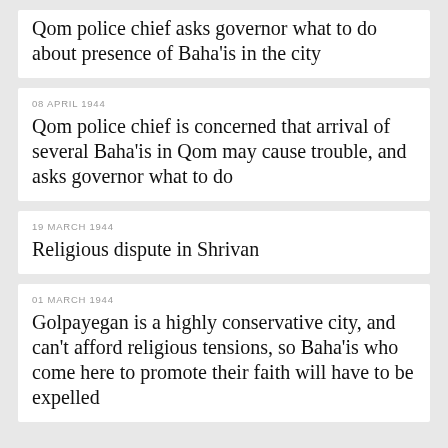Qom police chief asks governor what to do about presence of Baha'is in the city
08 APRIL 1944
Qom police chief is concerned that arrival of several Baha'is in Qom may cause trouble, and asks governor what to do
19 MARCH 1944
Religious dispute in Shrivan
01 MARCH 1944
Golpayegan is a highly conservative city, and can't afford religious tensions, so Baha'is who come here to promote their faith will have to be expelled